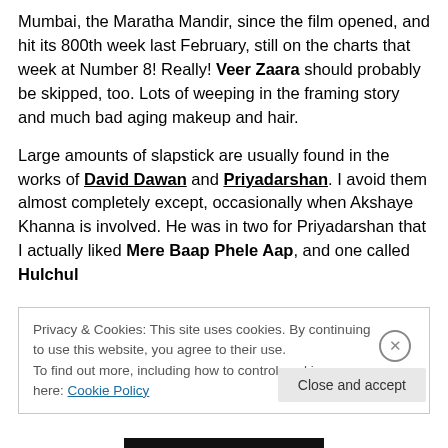Mumbai, the Maratha Mandir, since the film opened, and hit its 800th week last February, still on the charts that week at Number 8! Really! Veer Zaara should probably be skipped, too. Lots of weeping in the framing story and much bad aging makeup and hair.
Large amounts of slapstick are usually found in the works of David Dawan and Priyadarshan. I avoid them almost completely except, occasionally when Akshaye Khanna is involved. He was in two for Priyadarshan that I actually liked Mere Baap Phele Aap, and one called Hulchul
Privacy & Cookies: This site uses cookies. By continuing to use this website, you agree to their use.
To find out more, including how to control cookies, see here: Cookie Policy